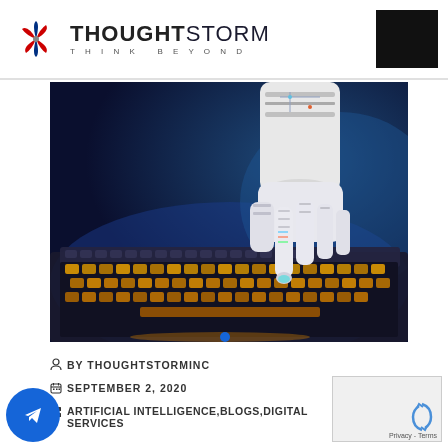[Figure (logo): ThoughtStorm logo with pinwheel icon and tagline THINK BEYOND]
[Figure (photo): Robotic hand typing on a laptop keyboard against dark blue background]
BY THOUGHTSTORMINC
SEPTEMBER 2, 2020
ARTIFICIAL INTELLIGENCE,BLOGS,DIGITAL SERVICES